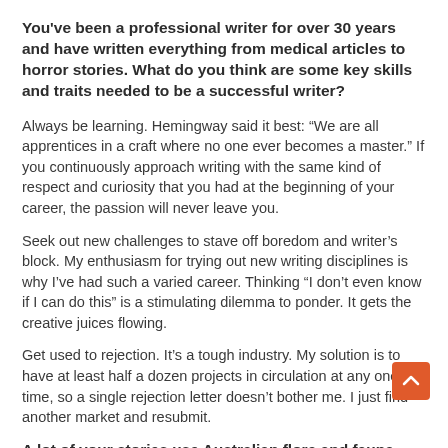You've been a professional writer for over 30 years and have written everything from medical articles to horror stories. What do you think are some key skills and traits needed to be a successful writer?
Always be learning. Hemingway said it best: “We are all apprentices in a craft where no one ever becomes a master.” If you continuously approach writing with the same kind of respect and curiosity that you had at the beginning of your career, the passion will never leave you.
Seek out new challenges to stave off boredom and writer’s block. My enthusiasm for trying out new writing disciplines is why I’ve had such a varied career. Thinking “I don’t even know if I can do this” is a stimulating dilemma to ponder. It gets the creative juices flowing.
Get used to rejection. It’s a tough industry. My solution is to have at least half a dozen projects in circulation at any one time, so a single rejection letter doesn’t bother me. I just find another market and resubmit.
A lot of your stories use Australian flora and fauna, including your recent novella Thylacines, which follows a genetic